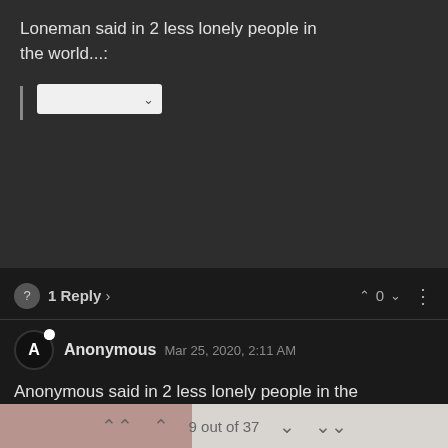Loneman said in 2 less lonely people in the world...:
[Figure (screenshot): A white dropdown/button UI element]
1 Reply > ^ 0 v :
Anonymous  Mar 25, 2020, 2:11 AM
Anonymous said in 2 less lonely people in the world...:
@Uncleray said in 2 less lonely people in the world...:
9 out of 37